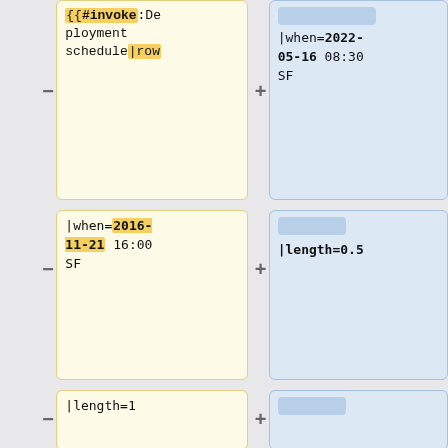{{#invoke:Deployment schedule|row
|when=2022-05-16 08:30 SF
|when=2016-11-21 16:00 SF
|length=0.5
|length=1
|window=Wikimedia Portals Update
|window=[[SWAT deploys|Evening SWAT]] <br/> <small>'''(Max 8 patches)'''<
|who={{ircnick|jan_drewniak|Jan Drewniak}}